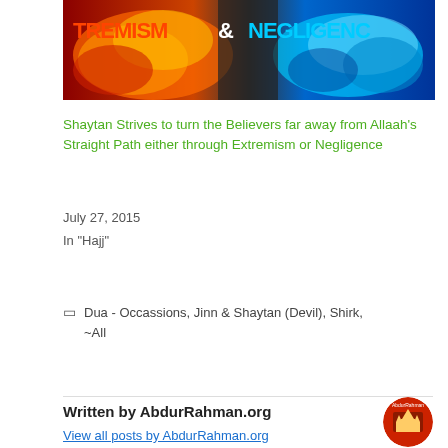[Figure (photo): Banner image showing fire and ice/water swirling together with text overlay reading 'TREMISM & NEGLIGENCE' (Extremism & Negligence)]
Shaytan Strives to turn the Believers far away from Allaah's Straight Path either through Extremism or Negligence
July 27, 2015
In "Hajj"
Dua - Occassions, Jinn & Shaytan (Devil), Shirk, ~All
Written by AbdurRahman.org
View all posts by AbdurRahman.org